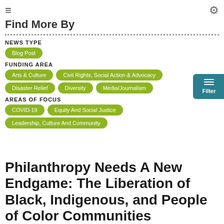Find More By
NEWS TYPE
Blog Post
FUNDING AREA
Arts & Culture
Civil Rights, Social Action & Advocacy
Disaster Relief
Diversity
Media/Journalism
AREAS OF FOCUS
COVID-19
Equity And Social Justice
Leadership, Culture And Community
Philanthropy Needs A New Endgame: The Liberation of Black, Indigenous, and People of Color Communities